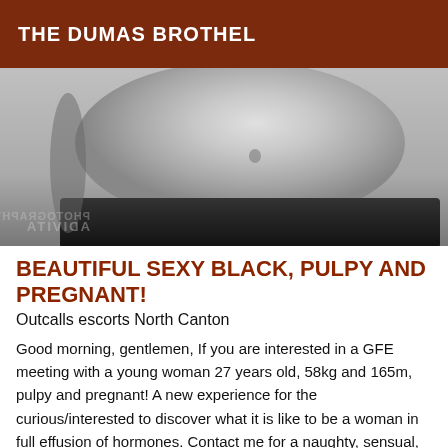THE DUMAS BROTHEL
[Figure (photo): Black and white close-up photograph of a pregnant woman's bare belly/torso with dark clothing at the bottom, watermark text mirrored in lower left corner]
BEAUTIFUL SEXY BLACK, PULPY AND PREGNANT!
Outcalls escorts North Canton
Good morning, gentlemen, If you are interested in a GFE meeting with a young woman 27 years old, 58kg and 165m, pulpy and pregnant! A new experience for the curious/interested to discover what it is like to be a woman in full effusion of hormones. Contact me for a naughty, sensual, respectful and sweet meeting. No hard, mandatory protected sex (non-negotiable), no